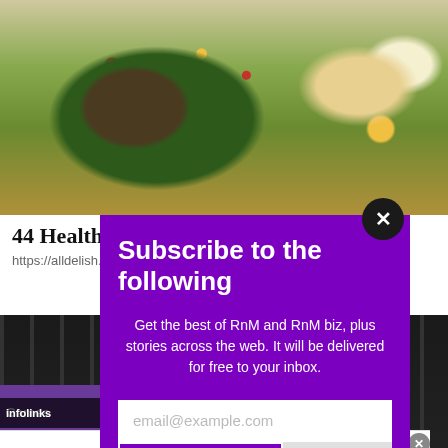[Figure (photo): Food photo showing a bowl with chickpeas, greens, tomatoes, and various vegetables on a wooden surface with lemon slices]
44 Healthy R... dible
https://alldelish.c...
[Figure (screenshot): Subscribe to the following modal popup overlay on purple background with email input and subscribe button. Close button (X) in top right. Text: Get the best of RnM and RnM biz, plus stories across the web. It will be delivered for free to your inbox.]
[Figure (photo): Gym/fitness equipment background photo showing dark room with weight rack]
Games
infolinks
[Figure (infographic): Advertisement banner: Online Home Store for Furniture - Shop Wayfair for A Zillion Things Home across all styles - www.wayfair.com with product image and arrow button]